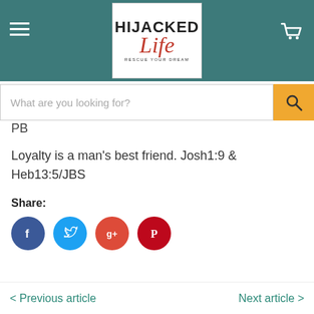[Figure (logo): Hijacked Life logo - 'RESCUE YOUR DREAM' tagline]
What are you looking for?
PB
Loyalty is a man's best friend. Josh1:9 & Heb13:5/JBS
Share:
[Figure (infographic): Social share icons: Facebook, Twitter, Google+, Pinterest]
< Previous article    Next article >